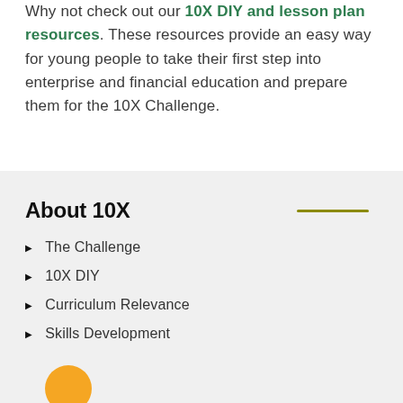Why not check out our 10X DIY and lesson plan resources. These resources provide an easy way for young people to take their first step into enterprise and financial education and prepare them for the 10X Challenge.
About 10X
The Challenge
10X DIY
Curriculum Relevance
Skills Development